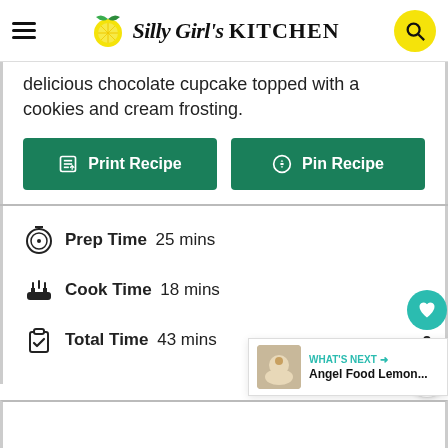This Silly Girl's KITCHEN
delicious chocolate cupcake topped with a cookies and cream frosting.
Print Recipe
Pin Recipe
Prep Time 25 mins
Cook Time 18 mins
Total Time 43 mins